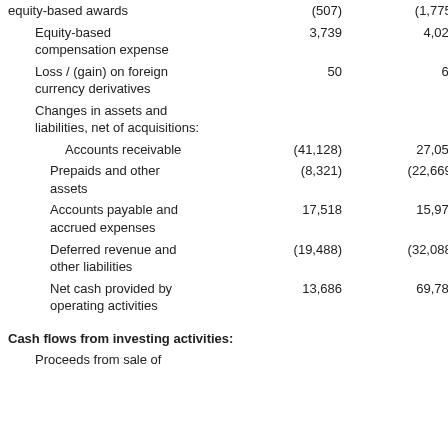|  | Col1 | Col2 |
| --- | --- | --- |
| equity-based awards | (507) | (1,775) |
| Equity-based compensation expense | 3,739 | 4,028 |
| Loss / (gain) on foreign currency derivatives | 50 | 61 |
| Changes in assets and liabilities, net of acquisitions: |  |  |
| Accounts receivable | (41,128) | 27,053 |
| Prepaids and other assets | (8,321) | (22,669) |
| Accounts payable and accrued expenses | 17,518 | 15,972 |
| Deferred revenue and other liabilities | (19,488) | (32,088) |
| Net cash provided by operating activities | 13,686 | 69,787 |
Cash flows from investing activities:
Proceeds from sale of